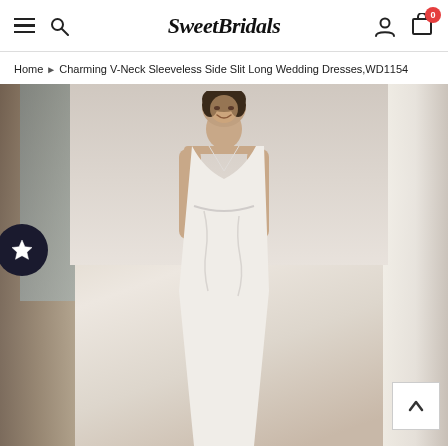SweetBridals — navigation header with hamburger menu, search, logo, user icon, and cart (0)
Home ▶ Charming V-Neck Sleeveless Side Slit Long Wedding Dresses,WD1154
[Figure (photo): A woman wearing a white sleeveless V-neck wedding dress, smiling, standing in a room with white curtains and natural light. A wishlist/star button is overlaid on the left edge and a back-to-top arrow button on the bottom right.]